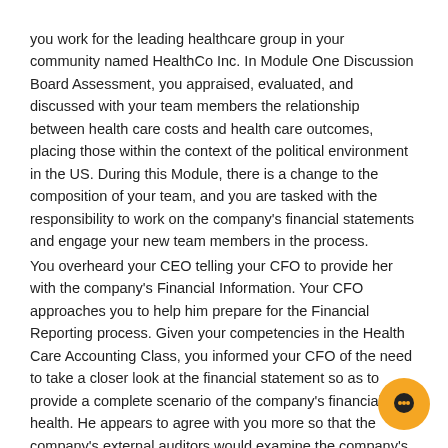you work for the leading healthcare group in your community named HealthCo Inc. In Module One Discussion Board Assessment, you appraised, evaluated, and discussed with your team members the relationship between health care costs and health care outcomes, placing those within the context of the political environment in the US. During this Module, there is a change to the composition of your team, and you are tasked with the responsibility to work on the company's financial statements and engage your new team members in the process.
You overheard your CEO telling your CFO to provide her with the company's Financial Information. Your CFO approaches you to help him prepare for the Financial Reporting process. Given your competencies in the Health Care Accounting Class, you informed your CFO of the need to take a closer look at the financial statement so as to provide a complete scenario of the company's financial health. He appears to agree with you more so that the company's external auditors would examine the company's financial statements. Knowing that the external audit process is central to the financial reporting